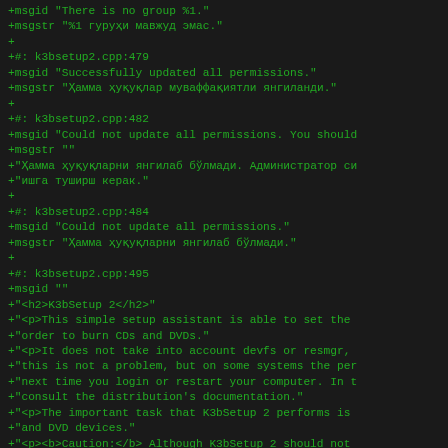+msgid "There is no group %1."
+msgstr "%1 гуруҳи мавжуд эмас."
+
+#: k3bsetup2.cpp:479
+msgid "Successfully updated all permissions."
+msgstr "Ҳамма ҳуқуқлар муваффақиятли янгиланди."
+
+#: k3bsetup2.cpp:482
+msgid "Could not update all permissions. You should
+msgstr ""
+"Ҳамма ҳуқуқларни янгилаб бўлмади. Администратор си
+"ишга туширш керак."
+
+#: k3bsetup2.cpp:484
+msgid "Could not update all permissions."
+msgstr "Ҳамма ҳуқуқларни янгилаб бўлмади."
+
+#: k3bsetup2.cpp:495
+msgid ""
+"<h2>K3bSetup 2</h2>"
+"<p>This simple setup assistant is able to set the
+"order to burn CDs and DVDs."
+"<p>It does not take into account devfs or resmgr,
+"this is not a problem, but on some systems the per
+"next time you login or restart your computer. In t
+"consult the distribution's documentation."
+"<p>The important task that K3bSetup 2 performs is
+"and DVD devices."
+"<p><b>Caution:</b> Although K3bSetup 2 should not
+"system, no guarantee can be given."